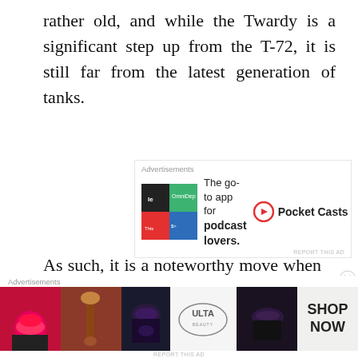rather old, and while the Twardy is a significant step up from the T-72, it is still far from the latest generation of tanks.
[Figure (infographic): Pocket Casts advertisement: 'The go-to app for podcast lovers.' with colorful grid logo and Pocket Casts branding]
As such, it is a noteworthy move when the Polish Defence Forces announce that a tank battalion from the 11th ‘Lubuska’ Armoured Cavalry Division in the southwestern parts of Poland is set to transfer to Wesoła. This is to
[Figure (infographic): ULTA Beauty advertisement banner with makeup imagery and 'SHOP NOW' text]